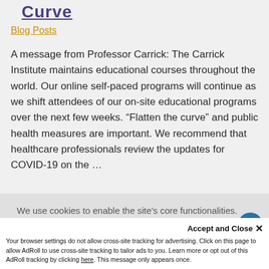Curve
Blog Posts
A message from Professor Carrick: The Carrick Institute maintains educational courses throughout the world. Our online self-paced programs will continue as we shift attendees of our on-site educational programs over the next few weeks. “Flatten the curve” and public health measures are important. We recommend that healthcare professionals review the updates for COVID-19 on the …
We use cookies to enable the site’s core functionalities. Please review our cookie policies.  My Preferences
Accept and Close ×
Your browser settings do not allow cross-site tracking for advertising. Click on this page to allow AdRoll to use cross-site tracking to tailor ads to you. Learn more or opt out of this AdRoll tracking by clicking here. This message only appears once.